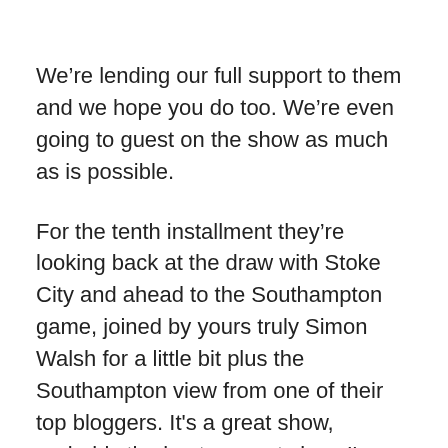We’re lending our full support to them and we hope you do too. We’re even going to guest on the show as much as is possible.
For the tenth installment they’re looking back at the draw with Stoke City and ahead to the Southampton game, joined by yours truly Simon Walsh for a little bit plus the Southampton view from one of their top bloggers. It's a great show, probably the best one yet since I'm on it.
So where can you get your hands on the latest piece of magnificence? Well check out the SoundCloud player below: